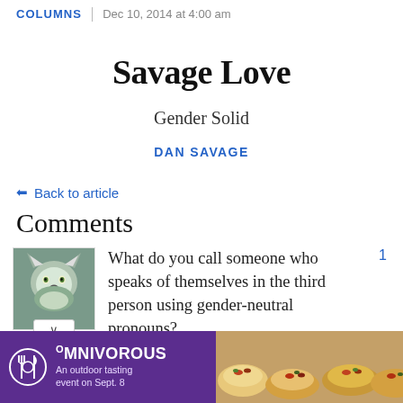COLUMNS | Dec 10, 2014 at 4:00 am
Savage Love
Gender Solid
DAN SAVAGE
⬅ Back to article
Comments
What do you call someone who speaks of themselves in the third person using gender-neutral pronouns?
[Figure (other): Advertisement banner for OMNIVOROUS: An outdoor tasting event on Sept. 8]